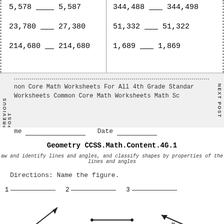5,578 ___ 5,587
344,488 ___ 344,498
23,780 ___ 27,380
51,332 ___ 51,322
214,680 ___ 214,680
1,689 ___ 1,869
non Core Math Worksheets For All 4th Grade Standards Worksheets Common Core Math Worksheets Math Sc
me ___________________ Date _______________
Geometry CCSS.Math.Content.4.G.1
aw and identify lines and angles, and classify shapes by properties of the lines and angles
Directions: Name the figure.
1 _____________ 2 _____________ 3 _____________
[Figure (illustration): Three geometry figures: 1) A ray with points G and D labeled, arrow pointing up-right. 2) A line segment with points G and H labeled. 3) A line or ray with points M and N labeled, arrow on left side.]